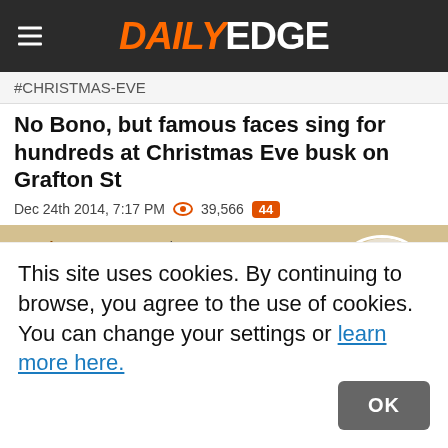DAILY EDGE
#CHRISTMAS-EVE
No Bono, but famous faces sing for hundreds at Christmas Eve busk on Grafton St
Dec 24th 2014, 7:17 PM  39,566  44
Evening Wrap - Dec 24th 2014, 4:55 PM
The 5 at 5
5 stories. 5 minutes. 5 o'clock.
This site uses cookies. By continuing to browse, you agree to the use of cookies. You can change your settings or learn more here.